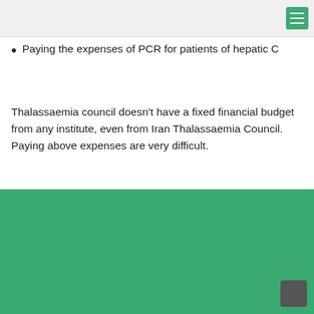Paying the expenses of PCR for patients of hepatic C
Thalassaemia council doesn't have a fixed financial budget from any institute, even from Iran Thalassaemia Council. Paying above expenses are very difficult.
Dr. Sheikh Educational, Research and Treatment Center
Khorasan Razavi, Mashhad, Tohid Sq. Dr. Sheikh St.
phone :98 51 37269021-5
Postal code :9139963185
Email: sheikh.hos@mums.ac.ir